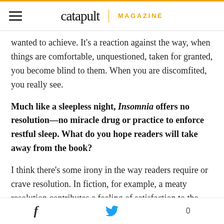catapult MAGAZINE
wanted to achieve. It’s a reaction against the way, when things are comfortable, unquestioned, taken for granted, you become blind to them. When you are discomfited, you really see.
Much like a sleepless night, Insomnia offers no resolution—no miracle drug or practice to enforce restful sleep. What do you hope readers will take away from the book?
I think there’s some irony in the way readers require or crave resolution. In fiction, for example, a meaty resolution contributes a feeling of satisfaction to the reading experience. Caps it off. Fixes the book.
f [twitter bird] 0